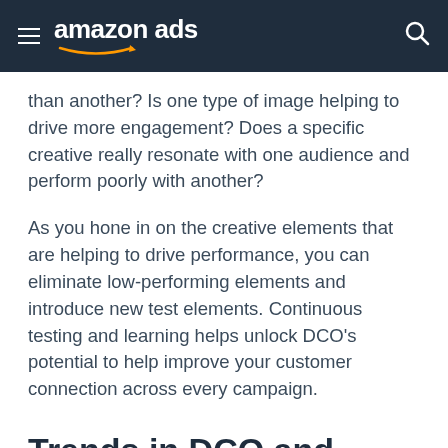amazon ads
than another? Is one type of image helping to drive more engagement? Does a specific creative really resonate with one audience and perform poorly with another?
As you hone in on the creative elements that are helping to drive performance, you can eliminate low-performing elements and introduce new test elements. Continuous testing and learning helps unlock DCO’s potential to help improve your customer connection across every campaign.
Trends in DCO and